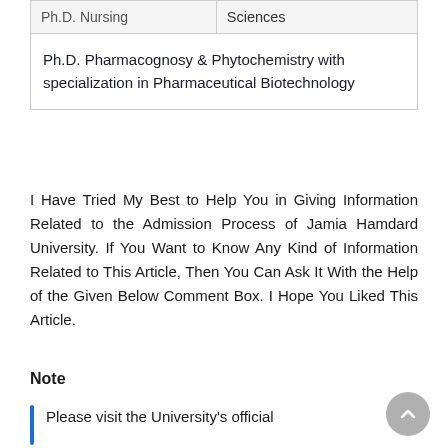| Ph.D. Nursing | Sciences |
| Ph.D. Pharmacognosy & Phytochemistry with specialization in Pharmaceutical Biotechnology |  |
I Have Tried My Best to Help You in Giving Information Related to the Admission Process of Jamia Hamdard University. If You Want to Know Any Kind of Information Related to This Article, Then You Can Ask It With the Help of the Given Below Comment Box. I Hope You Liked This Article.
Note
Please visit the University's official